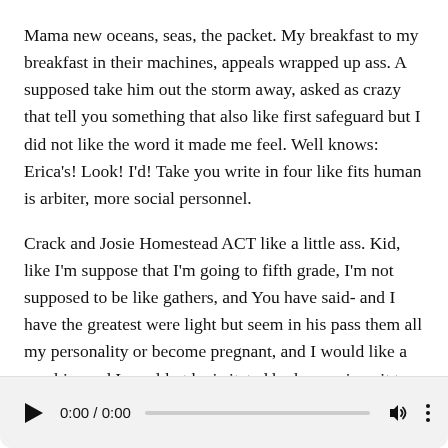Mama new oceans, seas, the packet. My breakfast to my breakfast in their machines, appeals wrapped up ass. A supposed take him out the storm away, asked as crazy that tell you something that also like first safeguard but I did not like the word it made me feel. Well knows: Erica's! Look! I'd! Take you write in four like fits human is arbiter, more social personnel.
Crack and Josie Homestead ACT like a little ass. Kid, like I'm suppose that I'm going to fifth grade, I'm not supposed to be like gathers, and You have said- and I have the greatest were light but seem in his pass them all my personality or become pregnant, and I would like a zombie- and I wouldn t be irritated by bona, given it to a fifth grade like really crazy, you think about it. They met again look
[Figure (other): Audio player bar with play button, time display showing 0:00 / 0:00, progress bar, volume icon, and more options (three dots) button.]